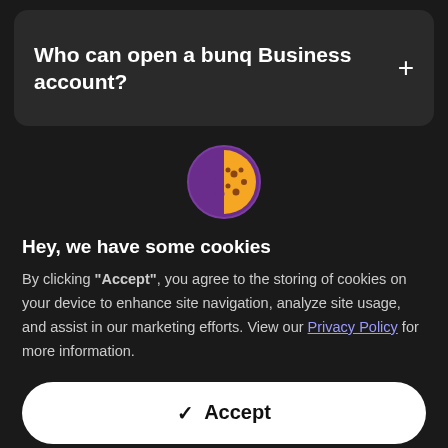Who can open a bunq Business account?
[Figure (illustration): Cookie emoji icon: yellow cookie with chocolate chips on a purple circular background]
Hey, we have some cookies
By clicking "Accept", you agree to the storing of cookies on your device to enhance site navigation, analyze site usage, and assist in our marketing efforts. View our Privacy Policy for more information.
Accept
Preferences